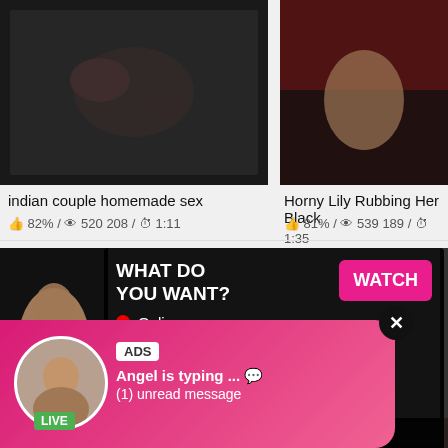[Figure (screenshot): Adult video thumbnail top left - dark intimate scene]
[Figure (screenshot): Adult video thumbnail top right - woman in red]
indian couple homemade sex
👍 82% / 👁 520 208 / ⏱ 1:11
Horny Lily Rubbing Her Black
👍 81% / 👁 539 189 / ⏱ 1:35
[Figure (screenshot): Adult video thumbnail middle left - woman performing act]
[Figure (screenshot): Adult video thumbnail middle right - person standing]
[Figure (screenshot): Ad overlay with WHAT DO YOU WANT? / WATCH button / Online status / mini thumbnails]
WHAT DO YOU WANT?
WATCH
● Online
Cumming, ass fucking, squirt or...
• ADS
Very bea...tiful indian cutey
👍 92%
[Figure (screenshot): Chat notification popup - Angel is typing with LIVE badge avatar]
ADS
Angel is typing ... 💬
(1) unread message
[Figure (screenshot): Bottom row video thumbnails]